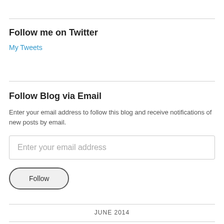Follow me on Twitter
My Tweets
Follow Blog via Email
Enter your email address to follow this blog and receive notifications of new posts by email.
Enter your email address
Follow
JUNE 2014